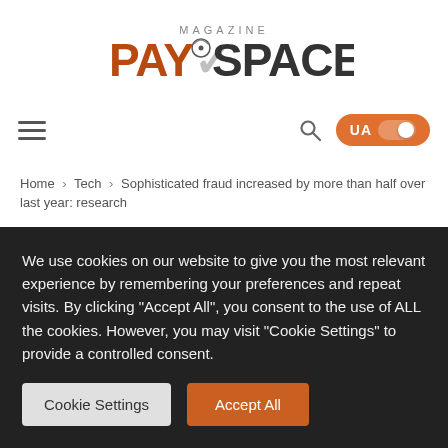[Figure (logo): PaySpace Magazine logo with orange and dark text and a figure icon with a globe]
≡   🔍   UA ●
Home › Tech › Sophisticated fraud increased by more than half over last year: research
Sophisticated fraud increased
We use cookies on our website to give you the most relevant experience by remembering your preferences and repeat visits. By clicking "Accept All", you consent to the use of ALL the cookies. However, you may visit "Cookie Settings" to provide a controlled consent.